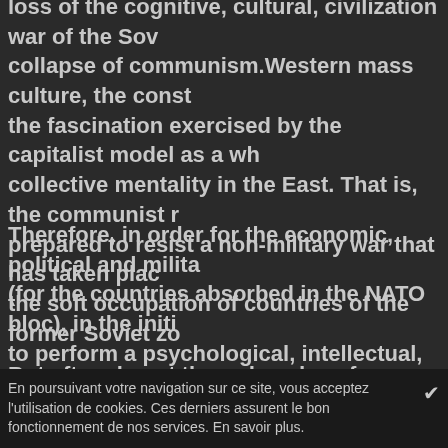loss of the cognitive, cultural, civilization war of the Soviet collapse of communism.Western mass culture, the consu the fascination exercised by the capitalist model as a who collective mentality in the East. That is, the communist re prepared to resist a non-military war that has taken place the soft occupation of countries of the former Soviet zon
Therefore, in order for the economic, political and military (for the countries absorbed in the NATO bloc), in the initi to perform a psychological, intellectual, civilization occu expanding the globalized West to Eastern Europe has be transition to the market economy, and other components shaped the political and economic model of our countries have become societies that have imitated, parodied, copi And being aware of the position of imitators, the new poli communist space took over completely, without any disc given by the power centers of the global oligarchy: the US Bank, the European Union, the WTO, etc.
But after almost three decades of transition from the com model, the economic and social situation in our societies degraded.These failures have been explained for a long t and corruption of governments that have succeeded over Brussels. This was the message sent by the emissaries and political organizations, which were repeated by the h
En poursuivant votre navigation sur ce site, vous acceptez l'utilisation de cookies. Ces derniers assurent le bon fonctionnement de nos services. En savoir plus.